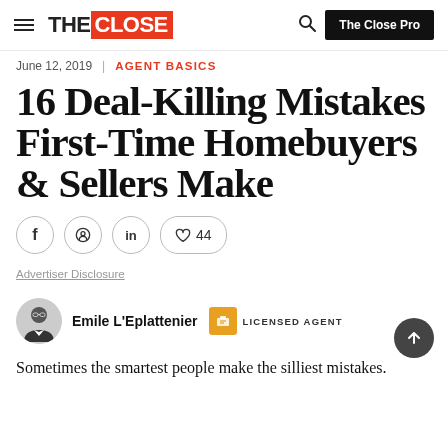THE CLOSE | The Close Pro
June 12, 2019 | AGENT BASICS
16 Deal-Killing Mistakes First-Time Homebuyers & Sellers Make
[Figure (infographic): Social sharing buttons: Facebook (f), Pinterest, LinkedIn (in), Heart with count 44]
Advertiser Disclosure
[Figure (photo): Author headshot: Emile L'Eplattenier, circular avatar showing a man in glasses and suit]
Emile L'Eplattenier  LICENSED AGENT
Sometimes the smartest people make the silliest mistakes.